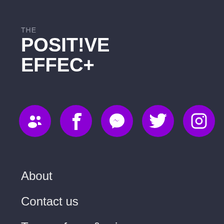THE POSITIVE EFFECT
[Figure (infographic): Row of five purple circular social media icons: a community/groups icon, Facebook, Messenger, Twitter, and Instagram]
About
Contact us
Terms of use & privacy